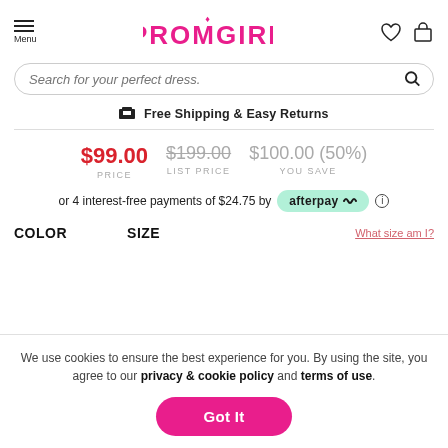Menu | PROMGIRL | [heart icon] [cart icon]
Search for your perfect dress.
Free Shipping & Easy Returns
$99.00 PRICE | $199.00 LIST PRICE | $100.00 (50%) YOU SAVE
or 4 interest-free payments of $24.75 by afterpay
COLOR   SIZE   What size am I?
We use cookies to ensure the best experience for you. By using the site, you agree to our privacy & cookie policy and terms of use.
Got It